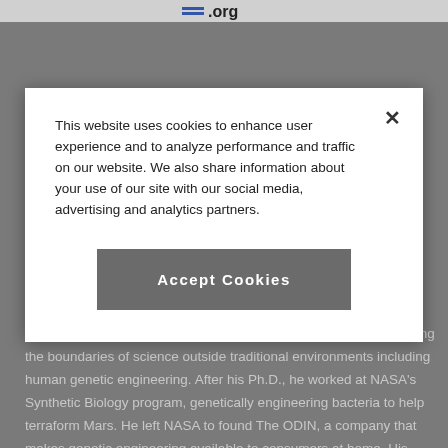.org
This website uses cookies to enhance user experience and to analyze performance and traffic on our website. We also share information about your use of our site with our social media, advertising and analytics partners.
Accept Cookies
Dr. Josiah Zayner is a biohacker and CEO who is constantly pushing the boundaries of science outside traditional environments including human genetic engineering. After his Ph.D., he worked at NASA's Synthetic Biology program, genetically engineering bacteria to help terraform Mars. He left NASA to found The ODIN, a company that makes genetic engineering available to consumers at home. His work has been featured in Time, Scientific American, Le Monde, Businessweek, The Guardian and NPR, among many others. He enjoys whiskey and Red Bull, sometimes together.